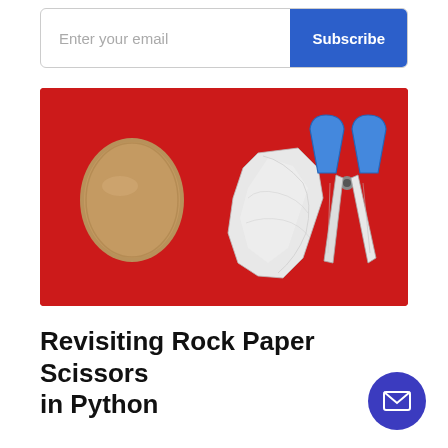Enter your email
Subscribe
[Figure (photo): Photo of rock (smooth brown stone), crumpled white paper, and blue scissors arranged on a red background, representing the game Rock Paper Scissors]
Revisiting Rock Paper Scissors in Python